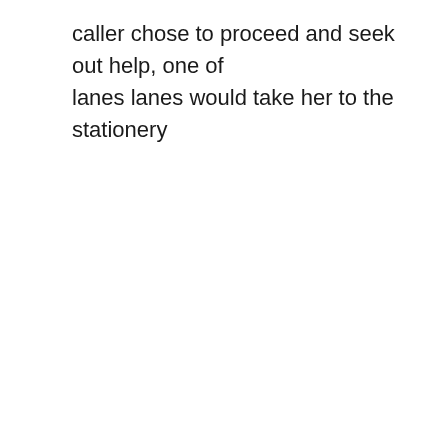caller chose to proceed and seek out help, one of lanes lanes would take her to the stationery